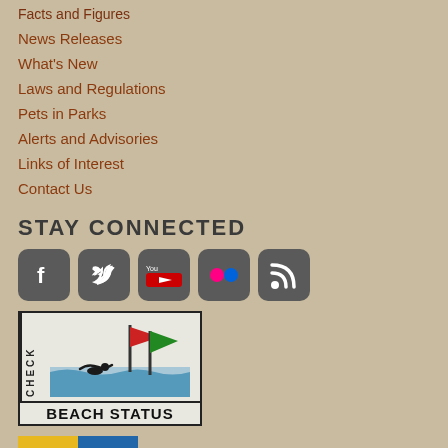Facts and Figures
News Releases
What's New
Laws and Regulations
Pets in Parks
Alerts and Advisories
Links of Interest
Contact Us
STAY CONNECTED
[Figure (infographic): Social media icons: Facebook, Twitter, YouTube, Flickr, RSS feed]
[Figure (infographic): Check Beach Status logo with swimmer and flags]
[Figure (logo): Missouri Department of Natural Resources logo with four-square icon grid]
Missouri State Parks – a division of the Missouri Department of Natural Resources